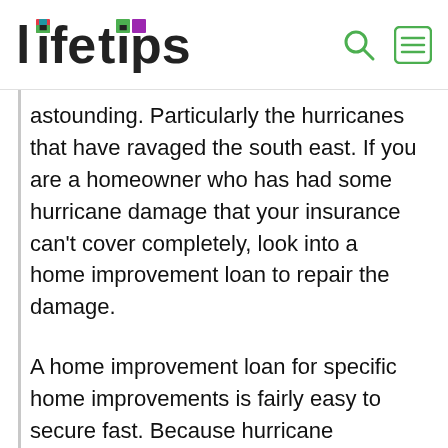lifetips
astounding. Particularly the hurricanes that have ravaged the south east. If you are a homeowner who has had some hurricane damage that your insurance can't cover completely, look into a home improvement loan to repair the damage.
A home improvement loan for specific home improvements is fairly easy to secure fast. Because hurricane damage often includes things such as a roof or windows